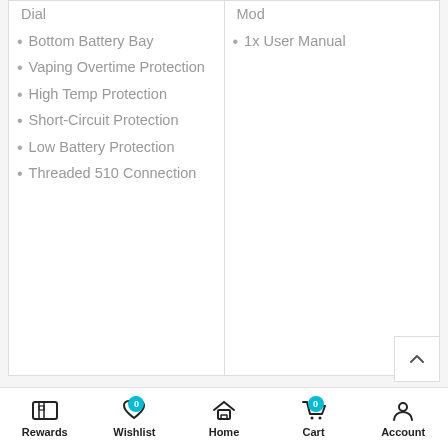Dial
Bottom Battery Bay
Vaping Overtime Protection
High Temp Protection
Short-Circuit Protection
Low Battery Protection
Threaded 510 Connection
Mod
1x User Manual
Additional Information
Rewards | Wishlist 0 | Home | Cart 0 | Account